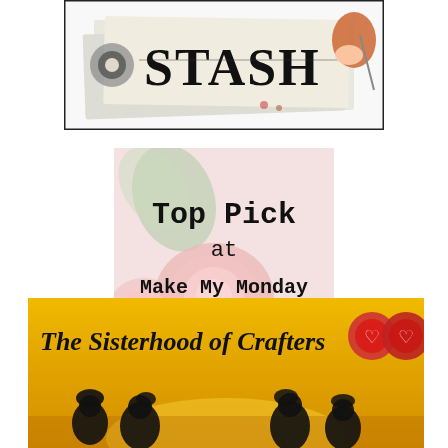[Figure (illustration): Cropped image showing the word 'STASH' in bold decorative lettering with craft/sewing elements including fabric, buttons, and a redhead figure with a needle, on a white background with a black border.]
[Figure (illustration): Badge/award image with floral background (pink and green roses) and text reading 'Top Pick at Make My Monday' in typewriter-style font.]
[Figure (illustration): Banner image on a golden yellow background showing silhouettes of four women and the text 'The Sisterhood of Crafters' with two red heart/circle icons.]